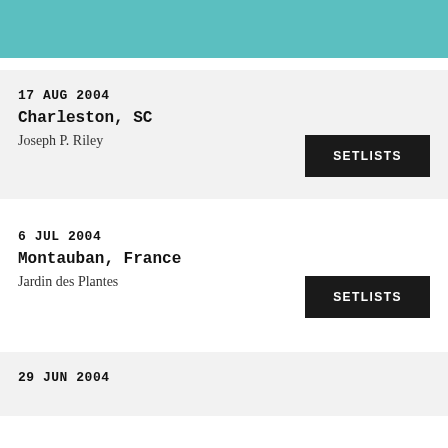17 AUG 2004 | Charleston, SC | Joseph P. Riley
6 JUL 2004 | Montauban, France | Jardin des Plantes
29 JUN 2004